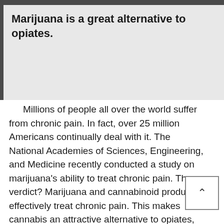Marijuana is a great alternative to opiates.
Millions of people all over the world suffer from chronic pain. In fact, over 25 million Americans continually deal with it. The National Academies of Sciences, Engineering, and Medicine recently conducted a study on marijuana's ability to treat chronic pain. The verdict? Marijuana and cannabinoid products effectively treat chronic pain. This makes cannabis an attractive alternative to opiates, opioids, and NSAIDs which can be very dangerous. Opiates and opioids can potentially cause several nasty effects and other complications.